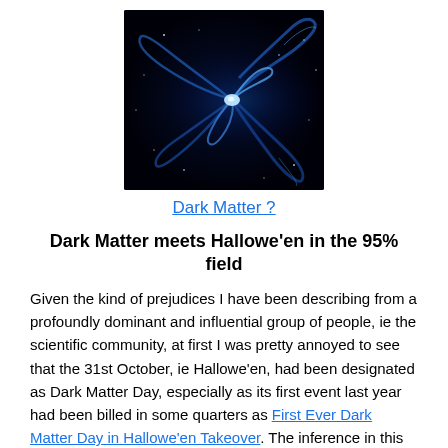[Figure (photo): A spiral galaxy rendered in blue light against a dark/black background, resembling a dark matter visualization or Milky Way illustration.]
Dark Matter ?
Dark Matter meets Hallowe'en in the 95% field
Given the kind of prejudices I have been describing from a profoundly dominant and influential group of people, ie the scientific community, at first I was pretty annoyed to see that the 31st October, ie Hallowe'en, had been designated as Dark Matter Day, especially as its first event last year had been billed in some quarters as First Ever Dark Matter Day in Hallowe'en Takeover. The inference in this headline is pretty clear: the choice of day represents an attempt by